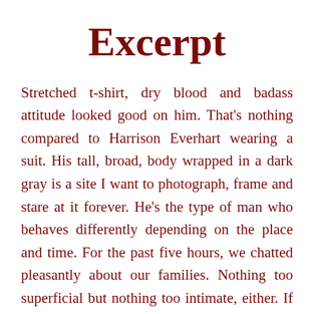Excerpt
Stretched t-shirt, dry blood and badass attitude looked good on him. That's nothing compared to Harrison Everhart wearing a suit. His tall, broad, body wrapped in a dark gray is a site I want to photograph, frame and stare at it forever. He's the type of man who behaves differently depending on the place and time. For the past five hours, we chatted pleasantly about our families. Nothing too superficial but nothing too intimate, either. If I had time to date, he'd be the kind of man I'd choose. Easy to talk to, funny, and a gentleman.